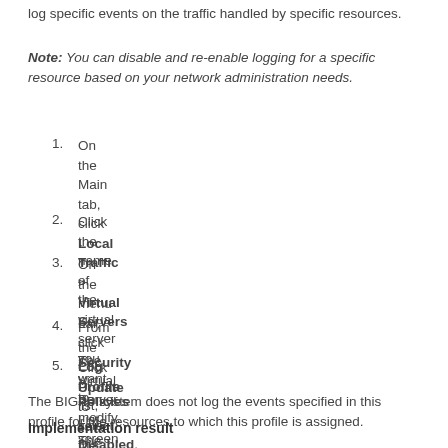log specific events on the traffic handled by specific resources.
Note: You can disable and re-enable logging for a specific resource based on your network administration needs.
1. On the Main tab, click Local Traffic > Virtual Servers . The Virtual Server List screen opens.
2. Click the name of the virtual server you want to modify.
3. On the menu bar, click Security > Policies . The screen displays firewall rule settings.
4. From the Log Profile list, select Disabled.
5. Click Update to save the changes.
The BIG-IP system does not log the events specified in this profile for the resources to which this profile is assigned.
Implementation result